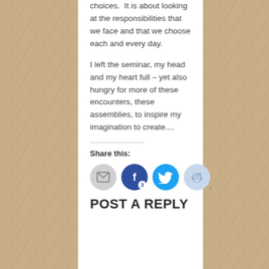choices.  It is about looking at the responsibilities that we face and that we choose each and every day.
I left the seminar, my head and my heart full – yet also hungry for more of these encounters, these assemblies, to inspire my imagination to create....
Share this:
[Figure (infographic): Social share buttons: email (grey circle), Facebook (dark blue circle with F and badge '3'), Twitter (blue circle with bird icon), Reddit (light blue circle with alien icon)]
POST A REPLY